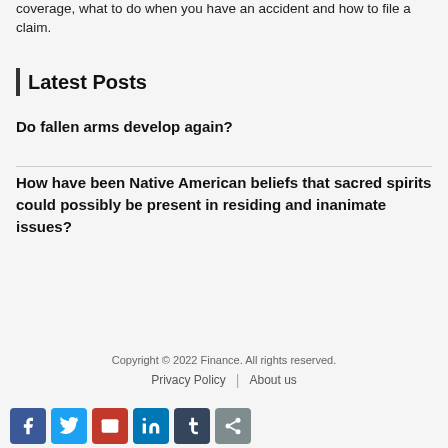coverage, what to do when you have an accident and how to file a claim.
Latest Posts
Do fallen arms develop again?
How have been Native American beliefs that sacred spirits could possibly be present in residing and inanimate issues?
Copyright © 2022 Finance. All rights reserved. Privacy Policy | About us